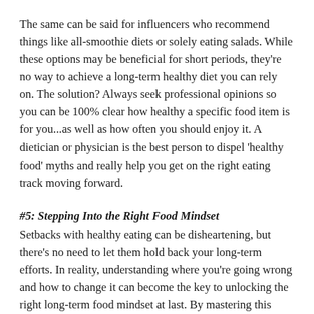The same can be said for influencers who recommend things like all-smoothie diets or solely eating salads. While these options may be beneficial for short periods, they're no way to achieve a long-term healthy diet you can rely on. The solution? Always seek professional opinions so you can be 100% clear how healthy a specific food item is for you...as well as how often you should enjoy it. A dietician or physician is the best person to dispel ‘healthy food’ myths and really help you get on the right eating track moving forward.
#5: Stepping Into the Right Food Mindset
Setbacks with healthy eating can be disheartening, but there’s no need to let them hold back your long-term efforts. In reality, understanding where you’re going wrong and how to change it can become the key to unlocking the right long-term food mindset at last. By mastering this step,  your health should start to improve -- and those life